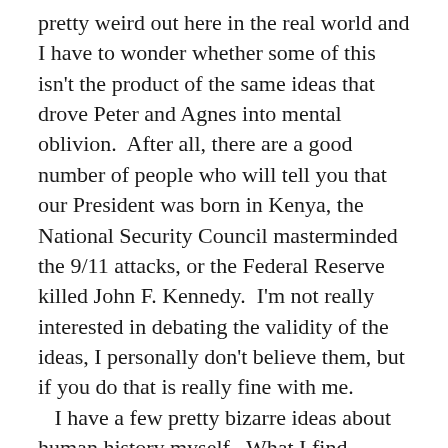pretty weird out here in the real world and I have to wonder whether some of this isn't the product of the same ideas that drove Peter and Agnes into mental oblivion. After all, there are a good number of people who will tell you that our President was born in Kenya, the National Security Council masterminded the 9/11 attacks, or the Federal Reserve killed John F. Kennedy.  I'm not really interested in debating the validity of the ideas, I personally don't believe them, but if you do that is really fine with me.  I have a few pretty bizarre ideas about human history myself.  What I find interesting about these theories is that how they illustrate the Woodward and Bernstein fantasy that some people are living.  We are the investigators of some great cosmic puzzle whose pieces are scattered willy-nilly through a series of cultural and political markers.  We are Sherlock Holmes turning our collective magnifying